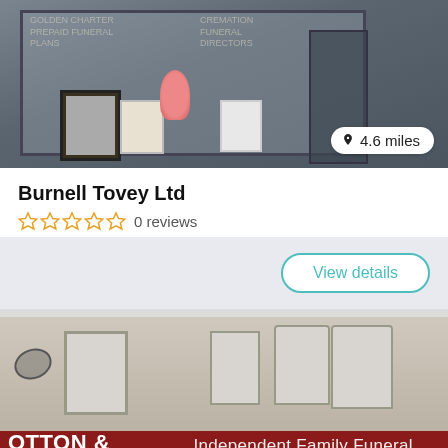[Figure (photo): Storefront photo of Burnell Tovey Ltd funeral home showing display window with framed items and flowers, with a location badge showing 4.6 miles]
Burnell Tovey Ltd
0 reviews
View details
[Figure (photo): Street-level photo of a funeral home with red signage reading 'OTTON & SONS Independent Family Funeral Ser...' with building facade and satellite dish visible]